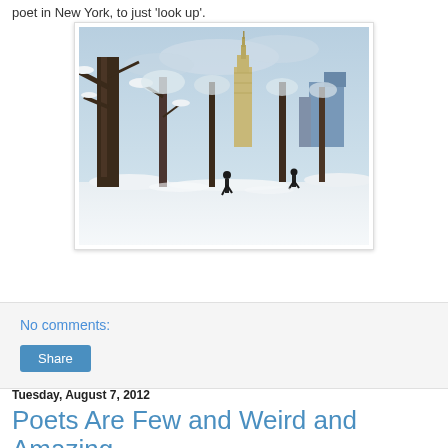poet in New York, to just 'look up'.
[Figure (photo): Snowy winter scene in Central Park, New York City, with snow-covered trees and the Empire State Building visible in the background. People walking through the snow-covered park.]
No comments:
Share
Tuesday, August 7, 2012
Poets Are Few and Weird and Amazing